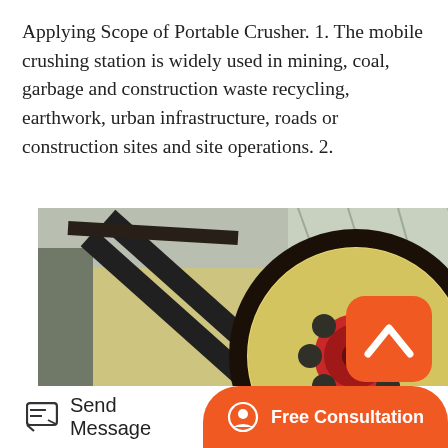Applying Scope of Portable Crusher. 1. The mobile crushing station is widely used in mining, coal, garbage and construction waste recycling, earthwork, urban infrastructure, roads or construction sites and site operations. 2.
[Figure (photo): Industrial portable crusher / jaw crusher machine with large flywheel/pulley, belt drive, and worker operating it inside a large industrial facility or greenhouse-type structure.]
[Figure (other): Orange rounded square button with white up-arrow chevron icon (back to top or navigation button)]
Send Message
Free Consultation